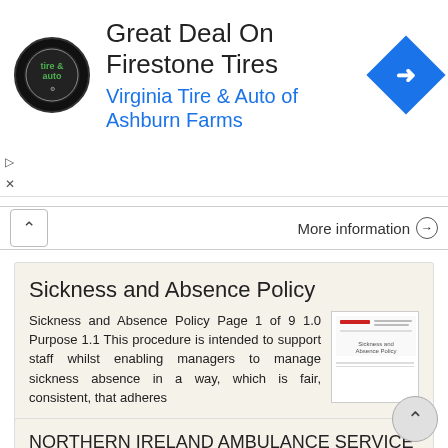[Figure (screenshot): Advertisement banner for Virginia Tire & Auto of Ashburn Farms featuring Firestone Tires deal with logo and navigation icon]
More information →
Sickness and Absence Policy
Sickness and Absence Policy Page 1 of 9 1.0 Purpose 1.1 This procedure is intended to support staff whilst enabling managers to manage sickness absence in a way, which is fair, consistent, that adheres
More information →
NORTHERN IRELAND AMBULANCE SERVICE ATTENDANCE MANAGEMENT POLICY
NORTHERN IRELAND AMBULANCE SERVICE ATTENDANCE   MANAGEMENT   POLICY